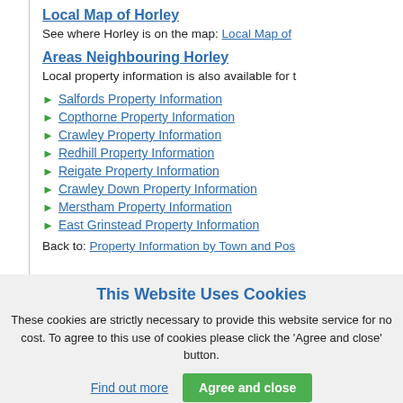Local Map of Horley
See where Horley is on the map: Local Map of
Areas Neighbouring Horley
Local property information is also available for t
Salfords Property Information
Copthorne Property Information
Crawley Property Information
Redhill Property Information
Reigate Property Information
Crawley Down Property Information
Merstham Property Information
East Grinstead Property Information
Back to: Property Information by Town and Pos
This Website Uses Cookies
These cookies are strictly necessary to provide this website service for no cost. To agree to this use of cookies please click the 'Agree and close' button.
Find out more | Agree and close